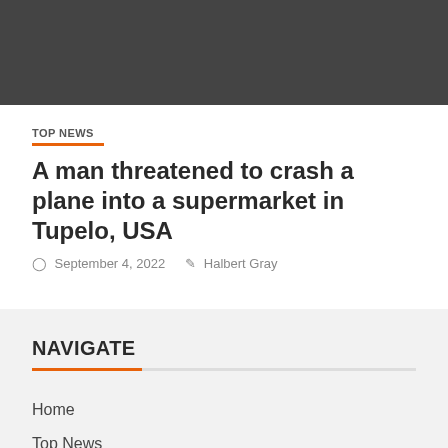[Figure (photo): Dark gray image placeholder at top of page]
TOP NEWS
A man threatened to crash a plane into a supermarket in Tupelo, USA
September 4, 2022   Halbert Gray
NAVIGATE
Home
Top News
World